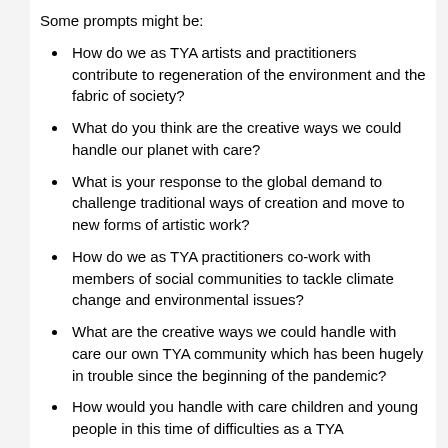Some prompts might be:
How do we as TYA artists and practitioners contribute to regeneration of the environment and the fabric of society?
What do you think are the creative ways we could handle our planet with care?
What is your response to the global demand to challenge traditional ways of creation and move to new forms of artistic work?
How do we as TYA practitioners co-work with members of social communities to tackle climate change and environmental issues?
What are the creative ways we could handle with care our own TYA community which has been hugely in trouble since the beginning of the pandemic?
How would you handle with care children and young people in this time of difficulties as a TYA